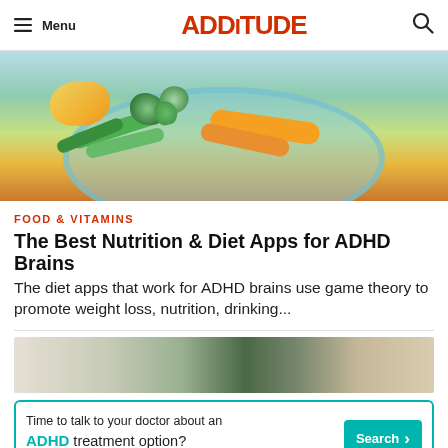≡ Menu   ADDitude   🔍
[Figure (photo): Overhead view of a light blue plate with colorful vegetables including green snap peas, carrots, fresh herbs/microgreens, on a wooden surface background]
FOOD & VITAMINS
The Best Nutrition & Diet Apps for ADHD Brains
The diet apps that work for ADHD brains use game theory to promote weight loss, nutrition, drinking...
[Figure (photo): Partial view of a living room or indoor space with plants and furniture in muted tones]
[Figure (infographic): Advertisement banner: Time to talk to your doctor about an ADHD treatment option? Search button. S42011 08/18]
ADVERTISEMENT